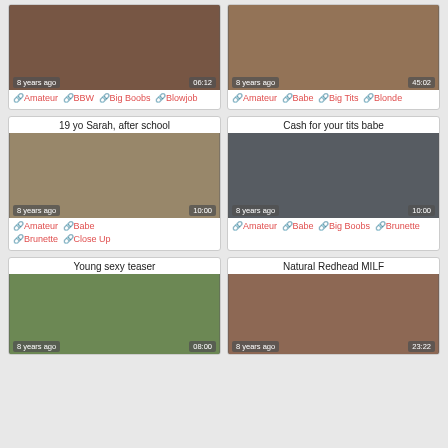[Figure (photo): Video thumbnail - close up scene, 8 years ago, 06:12]
🔗 Amateur 🔗 BBW 🔗 Big Boobs 🔗 Blowjob
[Figure (photo): Video thumbnail - female torso, 8 years ago, 45:02]
🔗 Amateur 🔗 Babe 🔗 Big Tits 🔗 Blonde
19 yo Sarah, after school
[Figure (photo): Video thumbnail - young woman on bed, 8 years ago, 10:00]
🔗 Amateur 🔗 Babe 🔗 Brunette 🔗 Close Up
Cash for your tits babe
[Figure (photo): Video thumbnail - two people at counter, 8 years ago, 10:00]
🔗 Amateur 🔗 Babe 🔗 Big Boobs 🔗 Brunette
Young sexy teaser
[Figure (photo): Video thumbnail - woman outdoors, 8 years ago, 08:00]
Natural Redhead MILF
[Figure (photo): Video thumbnail - two women, 8 years ago, 23:22]